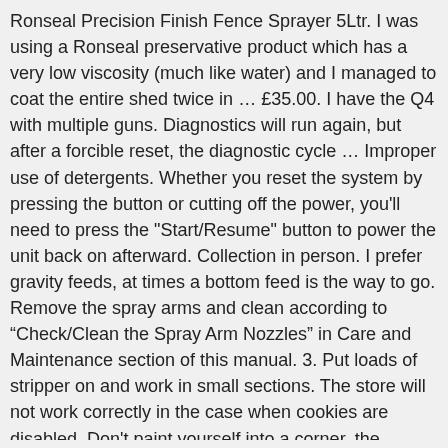Ronseal Precision Finish Fence Sprayer 5Ltr. I was using a Ronseal preservative product which has a very low viscosity (much like water) and I managed to coat the entire shed twice in … £35.00. I have the Q4 with multiple guns. Diagnostics will run again, but after a forcible reset, the diagnostic cycle … Improper use of detergents. Whether you reset the system by pressing the button or cutting off the power, you'll need to press the "Start/Resume" button to power the unit back on afterward. Collection in person. I prefer gravity feeds, at times a bottom feed is the way to go. Remove the spray arms and clean according to “Check/Clean the Spray Arm Nozzles” in Care and Maintenance section of this manual. 3. Put loads of stripper on and work in small sections. The store will not work correctly in the case when cookies are disabled. Don't paint yourself into a corner, the surface will be slippy while it's working, so be careful. Power and Precision The professional metal spray gun and more powerful 650 watt turbine make the 5500 spray station an ideal tool to achieve a quality professional finish on a wide variety of projects. The pro spray gun has a fast push-and-click three-position external spray pattern